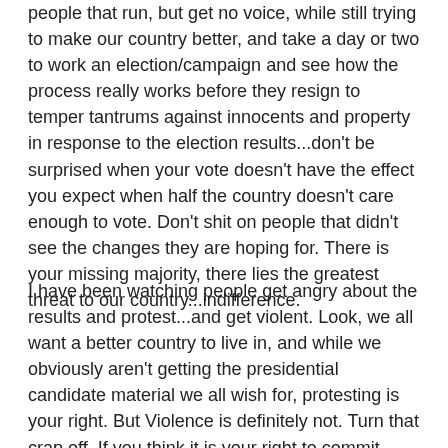people that run, but get no voice, while still trying to make our country better, and take a day or two to work an election/campaign and see how the process really works before they resign to temper tantrums against innocents and property in response to the election results...don't be surprised when your vote doesn't have the effect you expect when half the country doesn't care enough to vote. Don't shit on people that didn't see the changes they are hoping for. There is your missing majority, there lies the greatest threat to our country...indifference.
I have been watching people get angry about the results and protest...and get violent. Look, we all want a better country to live in, and while we obviously aren't getting the presidential candidate material we all wish for, protesting is your right. But Violence is definitely not. Turn that crap off. If you think it is your right to commit violence and destroy property, this isn't the country that stands for it, and any movement, ideal, or group that advocates it will never get the support it needs to